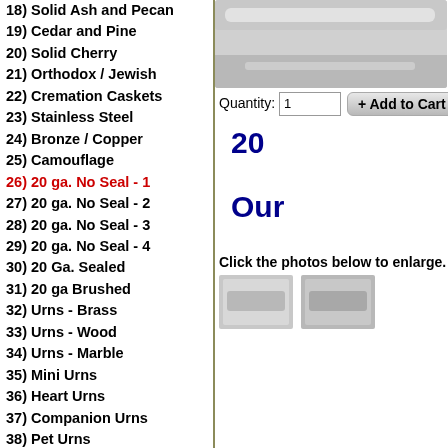18) Solid Ash and Pecan
19) Cedar and Pine
20) Solid Cherry
21) Orthodox / Jewish
22) Cremation Caskets
23) Stainless Steel
24) Bronze / Copper
25) Camouflage
26) 20 ga. No Seal - 1
27) 20 ga. No Seal - 2
28) 20 ga. No Seal - 3
29) 20 ga. No Seal - 4
30) 20 Ga. Sealed
31) 20 ga Brushed
32) Urns - Brass
33) Urns - Wood
34) Urns - Marble
35) Mini Urns
36) Heart Urns
37) Companion Urns
38) Pet Urns
39) Special Head Panels
40) Funeral Supplies
40) Wicker -Seagrass
41) Masks
[Figure (screenshot): Top portion of casket product image]
Quantity: 1
[Figure (screenshot): Add to Cart button]
20
Our
Click the photos below to enlarge.
[Figure (photo): Two thumbnail images of the casket]